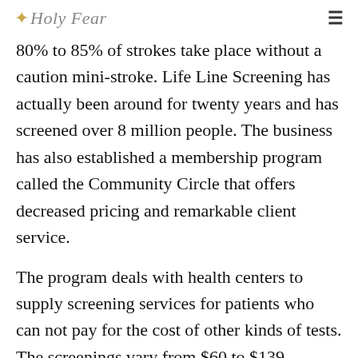✦ Holy Fear
80% to 85% of strokes take place without a caution mini-stroke. Life Line Screening has actually been around for twenty years and has screened over 8 million people. The business has also established a membership program called the Community Circle that offers decreased pricing and remarkable client service.
The program deals with health centers to supply screening services for patients who can not pay for the cost of other kinds of tests. The screenings vary from $60 to $139